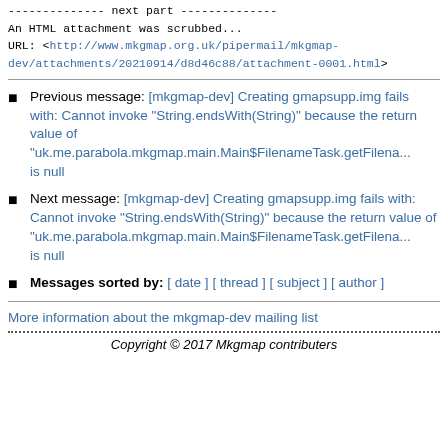-------------- next part --------------
An HTML attachment was scrubbed...
URL: <http://www.mkgmap.org.uk/pipermail/mkgmap-dev/attachments/20210914/d8d46c88/attachment-0001.html>
Previous message: [mkgmap-dev] Creating gmapsupp.img fails with: Cannot invoke "String.endsWith(String)" because the return value of "uk.me.parabola.mkgmap.main.Main$FilenameTask.getFilena... is null
Next message: [mkgmap-dev] Creating gmapsupp.img fails with: Cannot invoke "String.endsWith(String)" because the return value of "uk.me.parabola.mkgmap.main.Main$FilenameTask.getFilena... is null
Messages sorted by: [ date ] [ thread ] [ subject ] [ author ]
More information about the mkgmap-dev mailing list
Copyright © 2017 Mkgmap contributers